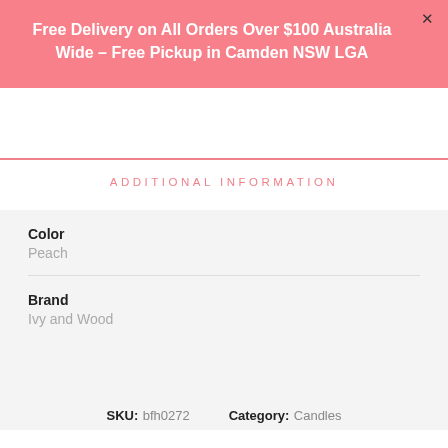Free Delivery on All Orders Over $100 Australia Wide - Free Pickup in Camden NSW LGA
ADDITIONAL INFORMATION
| Attribute | Value |
| --- | --- |
| Color | Peach |
| Brand | Ivy and Wood |
SKU: bfh0272   Category: Candles